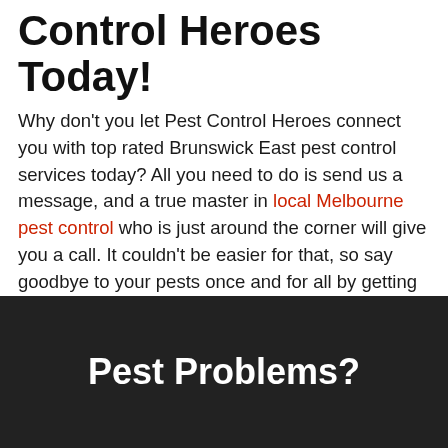Control Heroes Today!
Why don't you let Pest Control Heroes connect you with top rated Brunswick East pest control services today? All you need to do is send us a message, and a true master in local Melbourne pest control who is just around the corner will give you a call. It couldn't be easier for that, so say goodbye to your pests once and for all by getting started now.
Pest Problems?